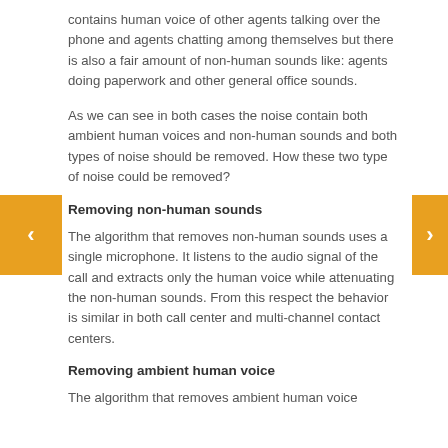contains human voice of other agents talking over the phone and agents chatting among themselves but there is also a fair amount of non-human sounds like: agents doing paperwork and other general office sounds.
As we can see in both cases the noise contain both ambient human voices and non-human sounds and both types of noise should be removed. How these two type of noise could be removed?
Removing non-human sounds
The algorithm that removes non-human sounds uses a single microphone. It listens to the audio signal of the call and extracts only the human voice while attenuating the non-human sounds. From this respect the behavior is similar in both call center and multi-channel contact centers.
Removing ambient human voice
The algorithm that removes ambient human voice